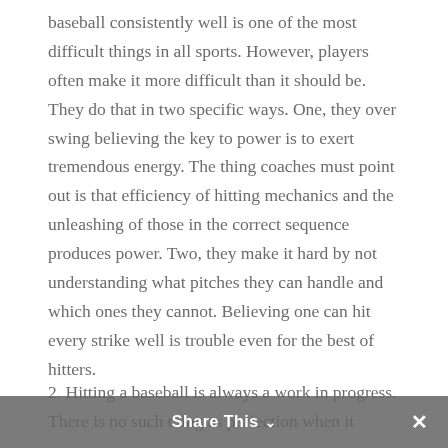baseball consistently well is one of the most difficult things in all sports. However, players often make it more difficult than it should be. They do that in two specific ways. One, they over swing believing the key to power is to exert tremendous energy. The thing coaches must point out is that efficiency of hitting mechanics and the unleashing of those in the correct sequence produces power. Two, they make it hard by not understanding what pitches they can handle and which ones they cannot. Believing one can hit every strike well is trouble even for the best of hitters.
2. Hitting a baseball is always a work in progress. There is no such thing as perfection when it
Share This